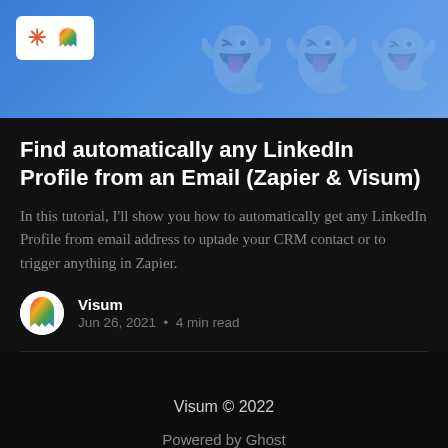[Figure (screenshot): Hero banner with blue gradient background showing Zapier asterisk icon and Ghost logo icon in a white rounded rectangle, with faint watermark ghost icons across the banner]
Find automatically any LinkedIn Profile from an Email (Zapier & Visum)
In this tutorial, I'll show you how to automatically get any LinkedIn Profile from email address to uptade your CRM contact or to trigger anything in Zapier.
Visum
Jun 26, 2021 • 4 min read
Visum © 2022
Powered by Ghost